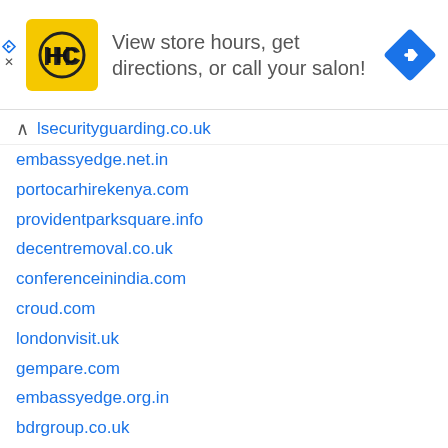[Figure (infographic): Advertisement banner: HC salon logo (yellow background with HC letters), text 'View store hours, get directions, or call your salon!', blue navigation/directions diamond icon on the right.]
lsecurityguarding.co.uk
embassyedge.net.in
portocarhirekenya.com
providentparksquare.info
decentremoval.co.uk
conferenceinindia.com
croud.com
londonvisit.uk
gempare.com
embassyedge.org.in
bdrgroup.co.uk
arden-group.co.uk
pizzahut.co.uk
unilever.co.uk
inwk.com
birminghamrestaurants.com
parkregisbirmingham.co.uk
cartersofmoseley.co.uk